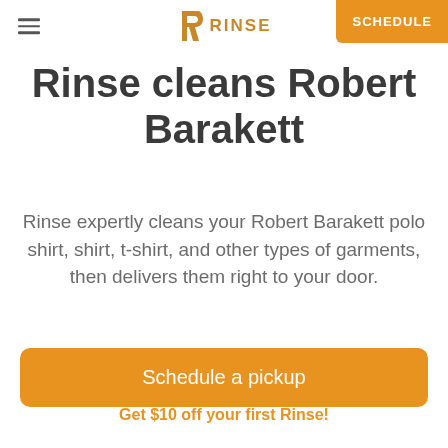RINSE | SCHEDULE
Rinse cleans Robert Barakett
Rinse expertly cleans your Robert Barakett polo shirt, shirt, t-shirt, and other types of garments, then delivers them right to your door.
Schedule a pickup
Get $10 off your first Rinse!